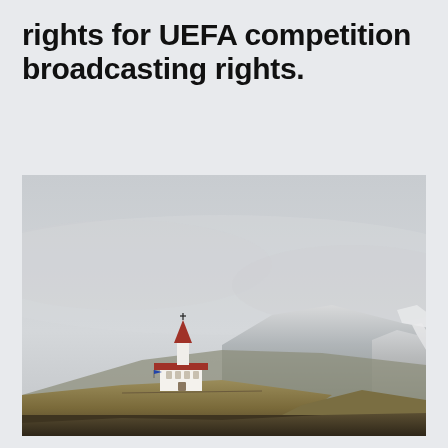rights for UEFA competition broadcasting rights.
[Figure (photo): Landscape photograph of a small white church with a red steeple and red roof, set on a grassy hillside. Behind it are large snow-capped mountains under an overcast grey sky. The foreground is earthy brown and green moorland. The scene appears to be in Iceland or a similar Nordic country.]